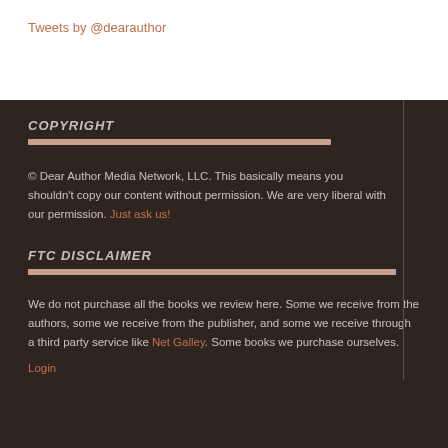Tweets by @dearauthor
COPYRIGHT
© Dear Author Media Network, LLC. This basically means you shouldn't copy our content without permission. We are very liberal with our permission. Just ask us!
FTC DISCLAIMER
We do not purchase all the books we review here. Some we receive from the authors, some we receive from the publisher, and some we receive through a third party service like Net Galley. Some books we purchase ourselves.
Login